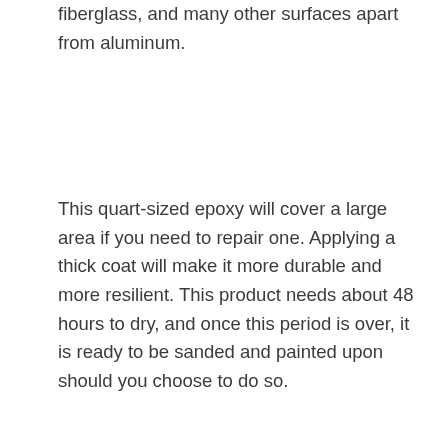fiberglass, and many other surfaces apart from aluminum.
This quart-sized epoxy will cover a large area if you need to repair one. Applying a thick coat will make it more durable and more resilient. This product needs about 48 hours to dry, and once this period is over, it is ready to be sanded and painted upon should you choose to do so.
[Figure (other): Orange button with text 'SEE ON AMAZON']
8. Loctite Liquid Professional Super Glue